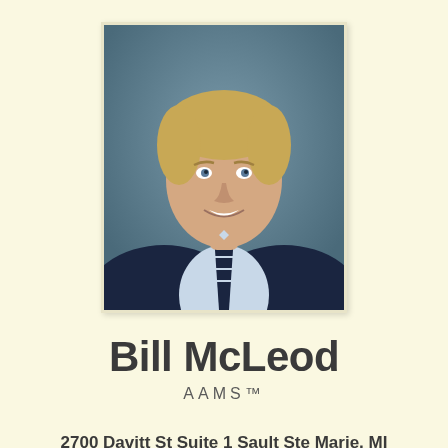[Figure (photo): Professional headshot of Bill McLeod, a middle-aged man with blonde hair wearing a dark navy blazer, light blue shirt, and dark striped tie, photographed against a teal/blue-grey background.]
Bill McLeod
AAMS™
2700 Davitt St Suite 1 Sault Ste Marie, MI 49783